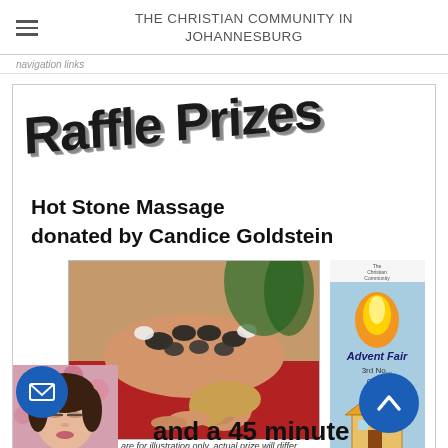THE CHRISTIAN COMMUNITY IN JOHANNESBURG
Raffle Prizes
Hot Stone Massage donated by Candice Goldstein
[Figure (photo): Photo of a woman lying face down receiving a hot stone massage on her back]
Images are for illustration only, actual prize will differ
[Figure (photo): Advent Fair flyer with illustrated house and flame, text: Advent Fair 3rd No...]
[Figure (photo): Portrait photo of a woman with eyes closed, pink flowers in background]
and a 45 minute